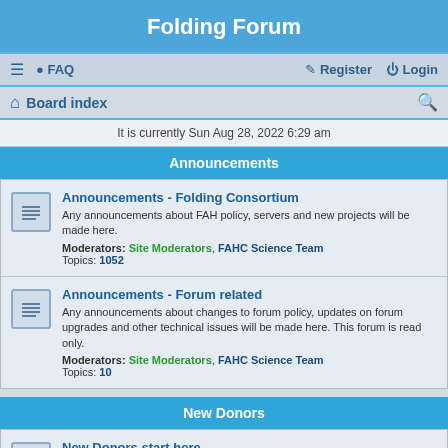Folding Forum
≡  FAQ    Register  Login
Board index
It is currently Sun Aug 28, 2022 6:29 am
Announcements
Announcements - Folding Consortium
Any announcements about FAH policy, servers and new projects will be made here.
Moderators: Site Moderators, FAHC Science Team
Topics: 1052
Announcements - Forum related
Any announcements about changes to forum policy, updates on forum upgrades and other technical issues will be made here. This forum is read only.
Moderators: Site Moderators, FAHC Science Team
Topics: 10
New Donors
New Donors start here
If you're new to FAH and need help getting started or you have very basic questions, start here.
Moderators: Site Moderators, FAHC Science Team
Topics: 2566